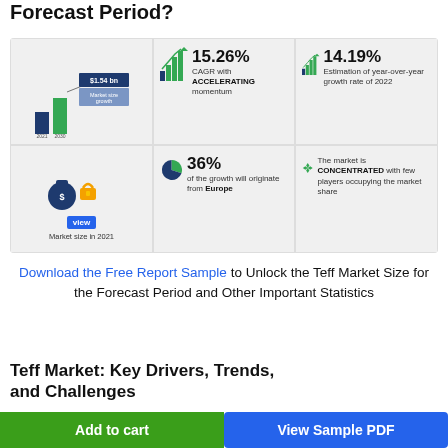Forecast Period?
[Figure (infographic): Market statistics infographic showing: $1.54 bn market size growth; 15.26% CAGR with ACCELERATING momentum; 14.19% Estimation of year-over-year growth rate of 2022; Market size in 2021 (locked); 36% of the growth will originate from Europe; The market is CONCENTRATED with few players occupying the market share.]
Download the Free Report Sample to Unlock the Teff Market Size for the Forecast Period and Other Important Statistics
Teff Market: Key Drivers, Trends, and Challenges
The growing awareness of the benefits of teff is